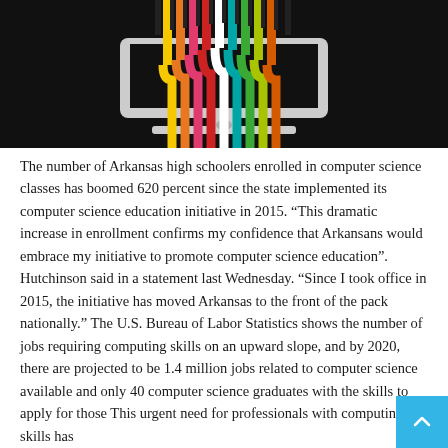[Figure (illustration): Dark background illustration of a desktop computer monitor with colorful vertical cables/wires (yellow, orange, pink, red, teal, green) running through the screen, placed on a white stand, against a black background.]
The number of Arkansas high schoolers enrolled in computer science classes has boomed 620 percent since the state implemented its computer science education initiative in 2015. “This dramatic increase in enrollment confirms my confidence that Arkansans would embrace my initiative to promote computer science education”. Hutchinson said in a statement last Wednesday. “Since I took office in 2015, the initiative has moved Arkansas to the front of the pack nationally.” The U.S. Bureau of Labor Statistics shows the number of jobs requiring computing skills on an upward slope, and by 2020, there are projected to be 1.4 million jobs related to computer science available and only 40 computer science graduates with the skills to apply for those This urgent need for professionals with computing skills has